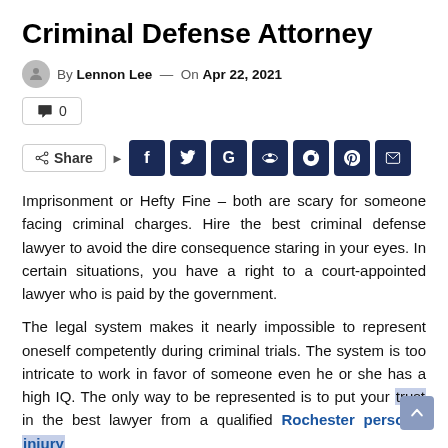Criminal Defense Attorney
By Lennon Lee — On Apr 22, 2021
💬 0
Share [social icons: Facebook, Twitter, Google, Reddit, WhatsApp, Pinterest, Email]
Imprisonment or Hefty Fine – both are scary for someone facing criminal charges. Hire the best criminal defense lawyer to avoid the dire consequence staring in your eyes. In certain situations, you have a right to a court-appointed lawyer who is paid by the government.
The legal system makes it nearly impossible to represent oneself competently during criminal trials. The system is too intricate to work in favor of someone even he or she has a high IQ. The only way to be represented is to put your trust in the best lawyer from a qualified Rochester personal injury